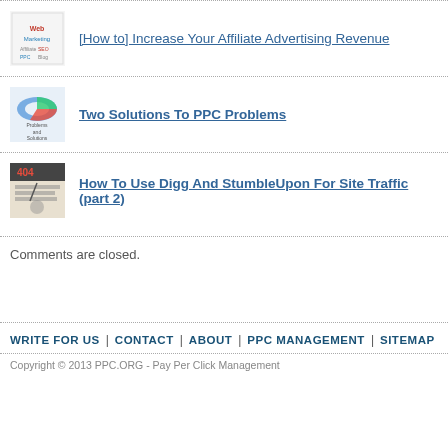[How to] Increase Your Affiliate Advertising Revenue
Two Solutions To PPC Problems
How To Use Digg And StumbleUpon For Site Traffic (part 2)
Comments are closed.
WRITE FOR US | CONTACT | ABOUT | PPC MANAGEMENT | SITEMAP
Copyright © 2013 PPC.ORG - Pay Per Click Management